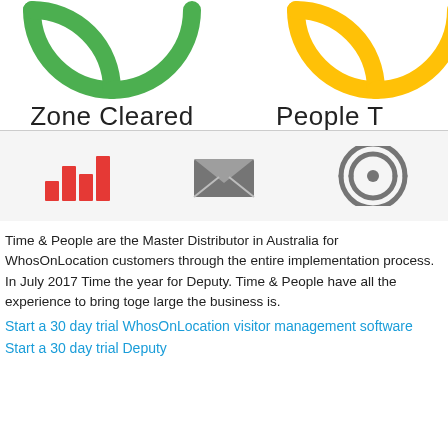[Figure (other): Partial green donut chart ring cropped at top, with label 'Zone Cleared' below]
[Figure (other): Partial yellow/gold donut chart ring cropped at top, with label 'People T...' (truncated) below]
[Figure (infographic): Icon bar with three icons: red bar chart icon, grey envelope/email icon, grey radio/broadcast signal icon]
Time & People are the Master Distributor in Australia for WhosOnLocation customers through the entire implementation process. In July 2017 Time the year for Deputy. Time & People have all the experience to bring toge large the business is.
Start a 30 day trial WhosOnLocation visitor management software
Start a 30 day trial Deputy